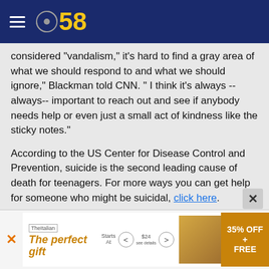CBS 58
considered "vandalism," it's hard to find a gray area of what we should respond to and what we should ignore," Blackman told CNN. " I think it's always -- always-- important to reach out and see if anybody needs help or even just a small act of kindness like the sticky notes."
According to the US Center for Disease Control and Prevention, suicide is the second leading cause of death for teenagers. For more ways you can get help for someone who might be suicidal, click here.
The-CNN-Wire™ & © 2018 Cable News Network, Inc., a Time Warner Company. All rights reserved.
[Figure (advertisement): Ad banner at bottom: 'The perfect gift' advertisement with 35% OFF + FREE offer]